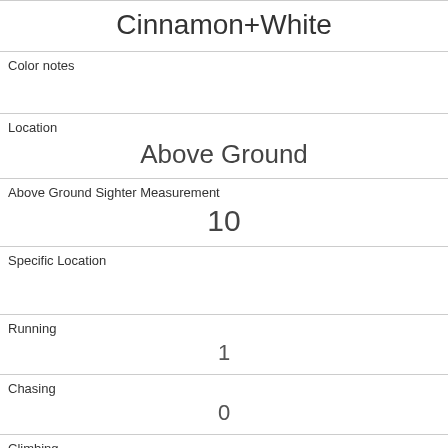Cinnamon+White
Color notes
Location
Above Ground
Above Ground Sighter Measurement
10
Specific Location
Running
1
Chasing
0
Climbing
1
Eating
1
Foraging
0
Other Activities